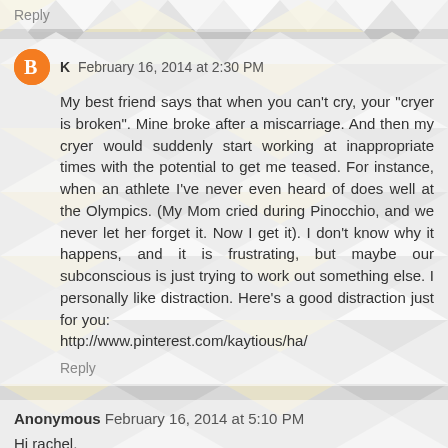Reply
K  February 16, 2014 at 2:30 PM
My best friend says that when you can't cry, your "cryer is broken". Mine broke after a miscarriage. And then my cryer would suddenly start working at inappropriate times with the potential to get me teased. For instance, when an athlete I've never even heard of does well at the Olympics. (My Mom cried during Pinocchio, and we never let her forget it. Now I get it). I don't know why it happens, and it is frustrating, but maybe our subconscious is just trying to work out something else. I personally like distraction. Here's a good distraction just for you:
http://www.pinterest.com/kaytious/ha/
Reply
Anonymous  February 16, 2014 at 5:10 PM
Hi rachel,
First I just want to say your attitude is truely amazing I have